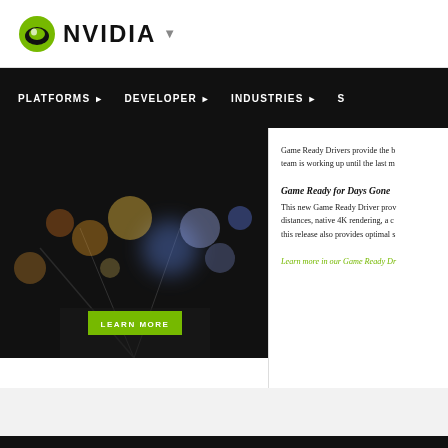NVIDIA
PLATFORMS ▶   DEVELOPER ▶   INDUSTRIES ▶   S
[Figure (photo): Dark bokeh background image with colored light orbs (blue, yellow, orange). A green 'LEARN MORE' button is overlaid at bottom center.]
Game Ready Drivers provide the b… team is working up until the last m…
Game Ready for Days Gone
This new Game Ready Driver pro… distances, native 4K rendering, a c… this release also provides optimal s…
Learn more in our Game Ready Dr…